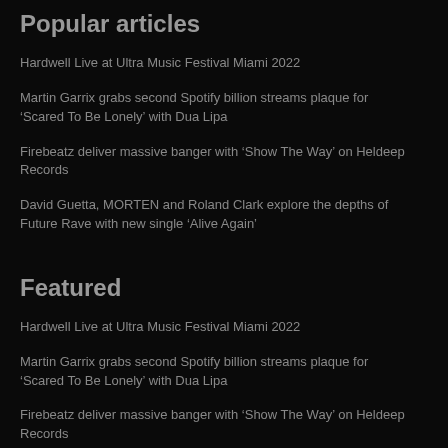Popular articles
Hardwell Live at Ultra Music Festival Miami 2022
Martin Garrix grabs second Spotify billion streams plaque for ‘Scared To Be Lonely’ with Dua Lipa
Firebeatz deliver massive banger with ‘Show The Way’ on Heldeep Records
David Guetta, MORTEN and Roland Clark explore the depths of Future Rave with new single ‘Alive Again’
Featured
Hardwell Live at Ultra Music Festival Miami 2022
Martin Garrix grabs second Spotify billion streams plaque for ‘Scared To Be Lonely’ with Dua Lipa
Firebeatz deliver massive banger with ‘Show The Way’ on Heldeep Records